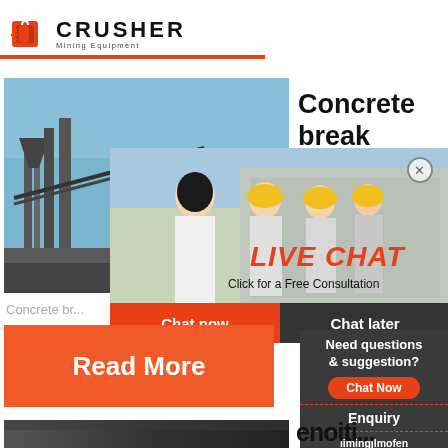[Figure (logo): CRUSHER Mining Equipment logo with shopping bag icon and red/black text]
[Figure (photo): Industrial mining/crushing equipment facility with blue sky background]
Concrete break
[Figure (infographic): Live chat overlay with workers in hard hats, LIVE CHAT text in red italic, Click for a Free Consultation, Chat now and Chat later buttons, 24Hrs Online badge, customer service representative photo on right]
Concrete br...
[Figure (infographic): Need questions & suggestion? Chat Now button, Enquiry link, limingjlmofen@sina.com email]
[Figure (photo): Read More orange button]
[Figure (photo): Bottom industrial mining image strip]
enoiti...